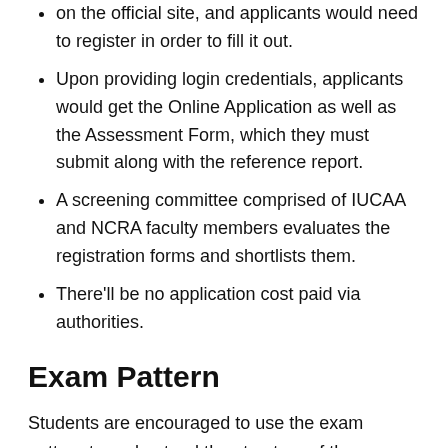on the official site, and applicants would need to register in order to fill it out.
Upon providing login credentials, applicants would get the Online Application as well as the Assessment Form, which they must submit along with the reference report.
A screening committee comprised of IUCAA and NCRA faculty members evaluates the registration forms and shortlists them.
There'll be no application cost paid via authorities.
Exam Pattern
Students are encouraged to use the exam pattern to understand the structure of the question paper which will help them prepare successfully. The test pattern would include all of the exam's specifics.